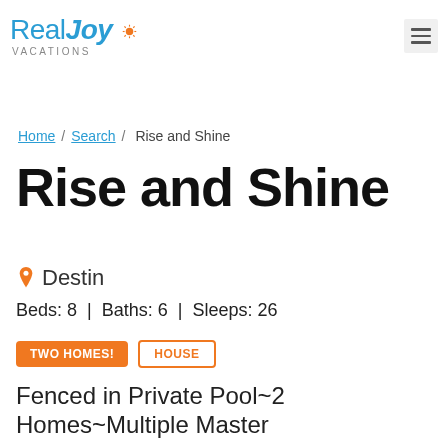[Figure (logo): RealJoy Vacations logo with blue text and orange sun icon]
Home / Search / Rise and Shine
Rise and Shine
📍 Destin
Beds: 8 | Baths: 6 | Sleeps: 26
TWO HOMES! | HOUSE
Fenced in Private Pool~2 Homes~Multiple Master